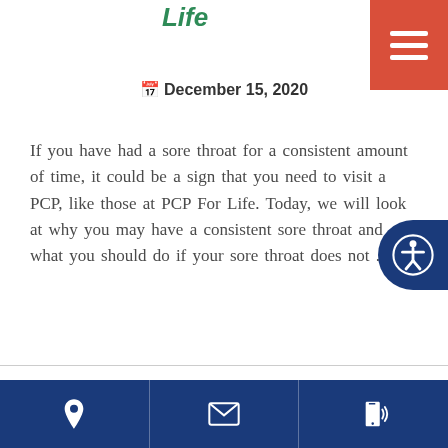Life
December 15, 2020
If you have had a sore throat for a consistent amount of time, it could be a sign that you need to visit a PCP, like those at PCP For Life. Today, we will look at why you may have a consistent sore throat and what you should do if your sore throat does not ...
9334 Views
Learn more
Location | Email | Phone